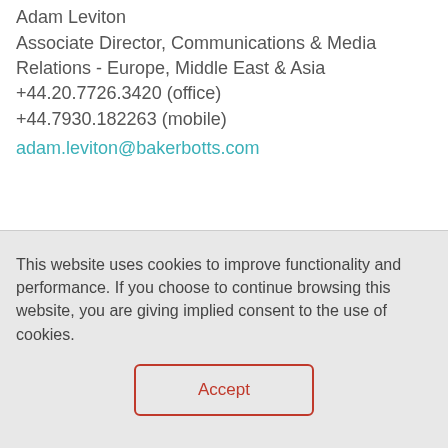Adam Leviton
Associate Director, Communications & Media Relations - Europe, Middle East & Asia
+44.20.7726.3420 (office)
+44.7930.182263 (mobile)
adam.leviton@bakerbotts.com
This website uses cookies to improve functionality and performance. If you choose to continue browsing this website, you are giving implied consent to the use of cookies.
Accept